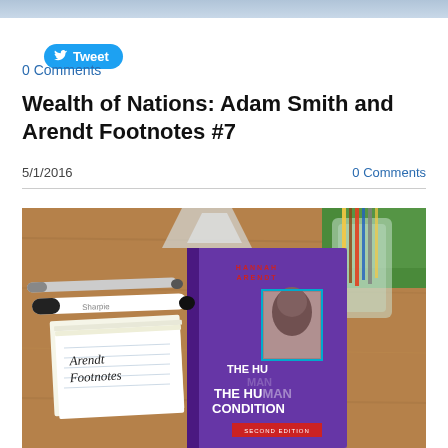[Figure (photo): Top banner strip photo (cropped, partial view)]
Tweet
0 Comments
Wealth of Nations: Adam Smith and Arendt Footnotes #7
5/1/2016
0 Comments
[Figure (photo): Photo of a desk with Hannah Arendt's 'The Human Condition' book, index cards labeled 'Arendt Footnotes', a Sharpie marker, and a pen, on a wooden surface with a glass jar of pencils in the background.]